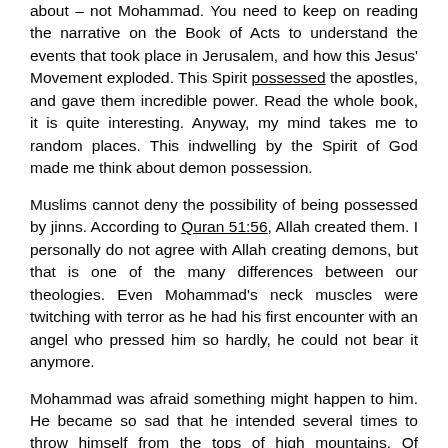about – not Mohammad. You need to keep on reading the narrative on the Book of Acts to understand the events that took place in Jerusalem, and how this Jesus' Movement exploded. This Spirit possessed the apostles, and gave them incredible power. Read the whole book, it is quite interesting. Anyway, my mind takes me to random places. This indwelling by the Spirit of God made me think about demon possession.
Muslims cannot deny the possibility of being possessed by jinns. According to Quran 51:56, Allah created them. I personally do not agree with Allah creating demons, but that is one of the many differences between our theologies. Even Mohammad's neck muscles were twitching with terror as he had his first encounter with an angel who pressed him so hardly, he could not bear it anymore.
Mohammad was afraid something might happen to him. He became so sad that he intended several times to throw himself from the tops of high mountains. Of course, we can debate forever whether this was the Archangel Gabriel or not. Whenever Gabriel appears in